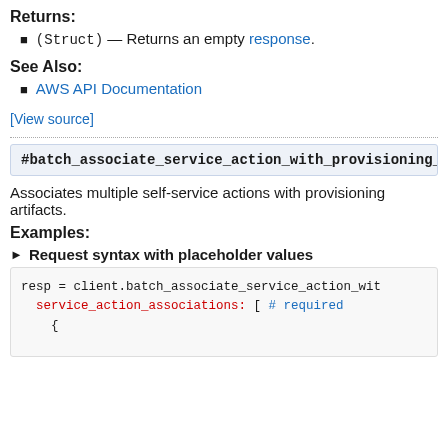Returns:
(Struct) — Returns an empty response.
See Also:
AWS API Documentation
[View source]
#batch_associate_service_action_with_provisioning_a
Associates multiple self-service actions with provisioning artifacts.
Examples:
► Request syntax with placeholder values
resp = client.batch_associate_service_action_wit
  service_action_associations: [ # required
    {